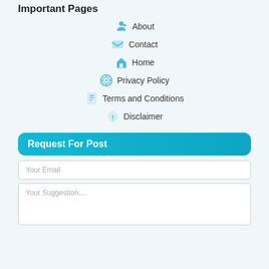Important Pages
About
Contact
Home
Privacy Policy
Terms and Conditions
Disclaimer
Request For Post
Your Email
Your Suggestion....